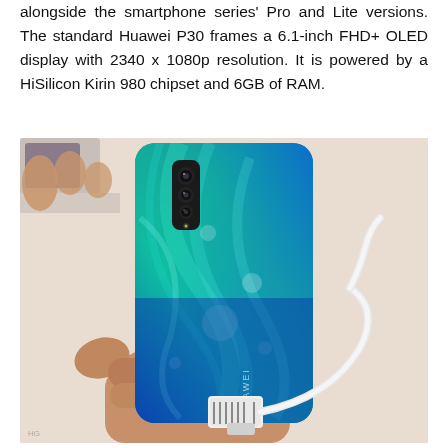alongside the smartphone series' Pro and Lite versions. The standard Huawei P30 frames a 6.1-inch FHD+ OLED display with 2340 x 1080p resolution. It is powered by a HiSilicon Kirin 980 chipset and 6GB of RAM.
[Figure (photo): A hand holding a Huawei P30 smartphone showing the back of the device. The phone has a gradient teal-to-blue color with swirling aurora pattern. A triple rear camera module is visible at the top left of the back. A white USB cable with security tag is attached to the bottom of the phone. The background is a light beige/white surface.]